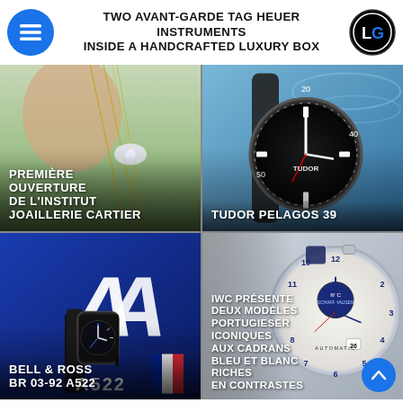TWO AVANT-GARDE TAG HEUER INSTRUMENTS INSIDE A HANDCRAFTED LUXURY BOX
[Figure (photo): Top-left panel: Cartier jewelry artisan holding a diamond necklace with text 'PREMIÈRE OUVERTURE DE L'INSTITUT JOAILLERIE CARTIER']
[Figure (photo): Top-right panel: Tudor Pelagos 39 diver watch in water with text 'TUDOR PELAGOS 39']
[Figure (photo): Bottom-left panel: Bell & Ross BR 03-92 A522 watch on blue Alpine F1 background with A522 logo, FR badge]
[Figure (photo): Bottom-right panel: IWC Portugieser watch with text 'IWC PRÉSENTE DEUX MODÈLES PORTUGIESER ICONIQUES AUX CADRANS BLEU ET BLANC RICHES EN CONTRASTES', FR badge]